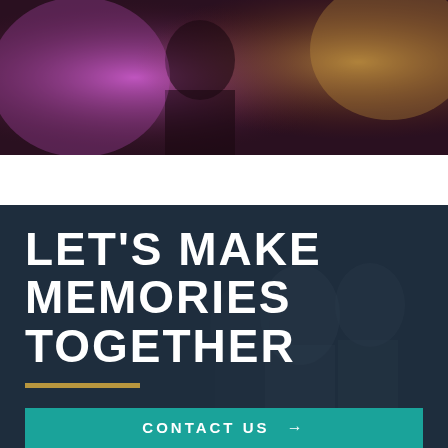[Figure (photo): Partial photo at top of page showing a person with purple/pink lighting and warm background tones, cropped to show top portion only]
LET'S MAKE MEMORIES TOGETHER
[Figure (other): Gold/yellow horizontal rule decorative line]
CONTACT US →